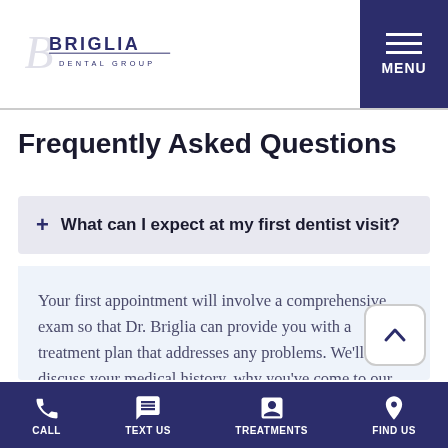Briglia Dental Group — MENU
Frequently Asked Questions
+ What can I expect at my first dentist visit?
Your first appointment will involve a comprehensive exam so that Dr. Briglia can provide you with a treatment plan that addresses any problems. We'll discuss your medical history, why you've come to our practice, and any general concerns you have. Dr. Briglia will review your past dental x-rays or take new updated digital x-rays in order to diagnose any problems that cannot be seen clinically. We'll review your past medical
CALL | TEXT US | TREATMENTS | FIND US